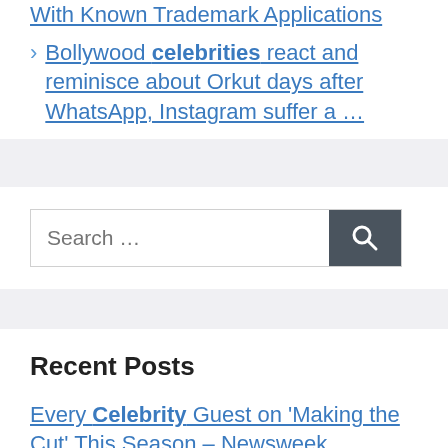With Known Trademark Applications
Bollywood celebrities react and reminisce about Orkut days after WhatsApp, Instagram suffer a …
[Figure (other): Gray horizontal divider band]
[Figure (other): Search bar with text 'Search …' and a dark search button with magnifying glass icon]
[Figure (other): Gray horizontal divider band]
Recent Posts
Every Celebrity Guest on 'Making the Cut' This Season – Newsweek